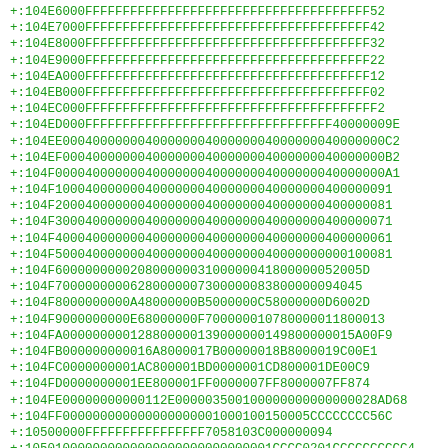+:104E6000FFFFFFFFFFFFFFFFFFFFFFFFFFFFFFFFFFFFFF52
+:104E7000FFFFFFFFFFFFFFFFFFFFFFFFFFFFFFFFFFFFFF42
+:104E8000FFFFFFFFFFFFFFFFFFFFFFFFFFFFFFFFFFFFFF32
+:104E9000FFFFFFFFFFFFFFFFFFFFFFFFFFFFFFFFFFFFFF22
+:104EA000FFFFFFFFFFFFFFFFFFFFFFFFFFFFFFFFFFFFFF12
+:104EB000FFFFFFFFFFFFFFFFFFFFFFFFFFFFFFFFFFFFFF02
+:104EC000FFFFFFFFFFFFFFFFFFFFFFFFFFFFFFFFFFFFFFF2
+:104ED000FFFFFFFFFFFFFFFFFFFFFFFFFFFFFFFFF40000009E
+:104EE0004000000040000000400000004000000040000000C2
+:104EF0004000000040000000400000004000000040000000B2
+:104F00004000000040000000400000004000000040000000A1
+:104F100040000000400000004000000040000000400000091
+:104F200040000000400000004000000040000000400000081
+:104F300040000000400000004000000040000000400000071
+:104F400040000000400000004000000040000000400000061
+:104F500040000000400000004000000040000000000100081
+:104F600000000002080000003100000041800000052005D
+:104F700000000006280000007300000083800000094045
+:104F8000000000A48000000B5000000C58000000D6002D
+:104F9000000000E68000000F700000010780000011800013
+:104FA00000000012880000013900000014980000015A00F9
+:104FB00000000016A8000017B00000018B8000019C00E1
+:104FC0000000001AC800001BD0000001CD800001DE00C9
+:104FD0000000001EE800001FF0000007FF8000007FF874
+:104FE00000000000112E00000350010000000000000028AD68
+:104FF000000000000000000001000100150005CCCCCCCC56C
+:10500000FFFFFFFFFFFFFFFF7058103C000000094
+:1050100000000000000000000000000001CCCC0201CCCCCCCCCC4
+:10502000CCCC0201CCCCCCCCCCCCC0201CCCCCCCCCEA
+:10503000CCCC0201CCCCCCCCCCCCC0201CCCCCCCCDA